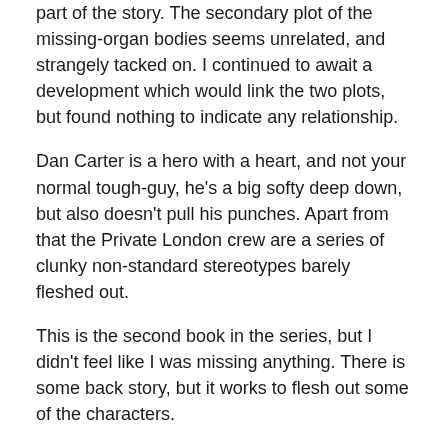part of the story. The secondary plot of the missing-organ bodies seems unrelated, and strangely tacked on. I continued to await a development which would link the two plots, but found nothing to indicate any relationship.
Dan Carter is a hero with a heart, and not your normal tough-guy, he's a big softy deep down, but also doesn't pull his punches. Apart from that the Private London crew are a series of clunky non-standard stereotypes barely fleshed out.
This is the second book in the series, but I didn't feel like I was missing anything. There is some back story, but it works to flesh out some of the characters.
Good, fast paced action. Nicely entertaining, but nothing of substance, still a great book to read on a plane or a beach, and I'll certainly be back for some more light